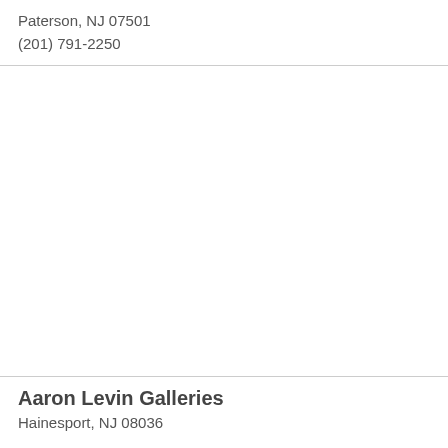Paterson, NJ 07501
(201) 791-2250
Aaron Levin Galleries
Hainesport, NJ 08036